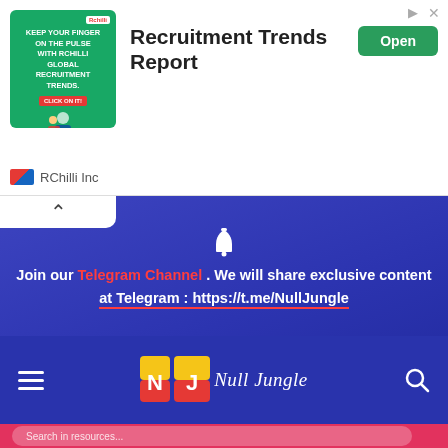[Figure (screenshot): Ad banner for RChilli Inc - Recruitment Trends Report with green illustrated banner image, Open button, and RChilli Inc logo]
[Figure (screenshot): Null Jungle website header showing hamburger menu, NJ logo with 'Null Jungle' text, and search icon on dark blue background]
Join our Telegram Channel . We will share exclusive content at Telegram : https://t.me/NullJungle
[Figure (screenshot): Pink/red search bar section with 'Search in resources...' placeholder text and magnifying glass icon]